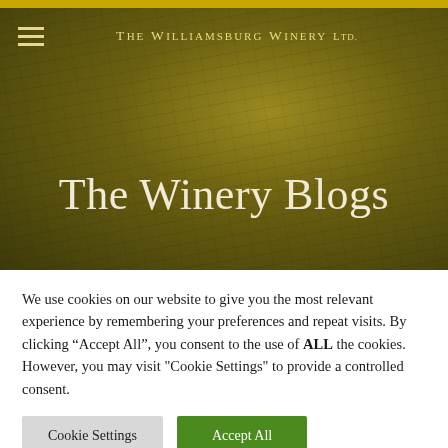The Williamsburg Winery Ltd.
The Winery Blogs
We use cookies on our website to give you the most relevant experience by remembering your preferences and repeat visits. By clicking “Accept All”, you consent to the use of ALL the cookies. However, you may visit "Cookie Settings" to provide a controlled consent.
Cookie Settings
Accept All